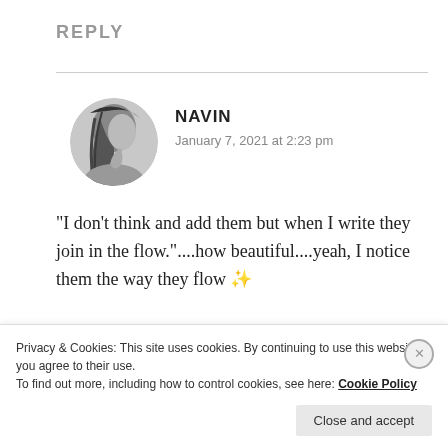REPLY
[Figure (photo): Circular black and white profile photo of a person with long hair, side profile view]
NAVIN
January 7, 2021 at 2:23 pm
“I don’t think and add them but when I write they join in the flow.”....how beautiful....yeah, I notice them the way they flow ✨
★ Liked by 1 person
Privacy & Cookies: This site uses cookies. By continuing to use this website, you agree to their use.
To find out more, including how to control cookies, see here: Cookie Policy